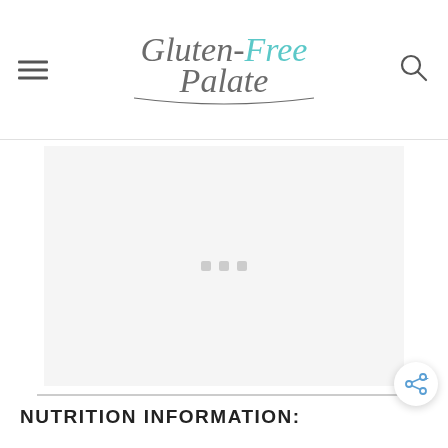Gluten-Free Palate
[Figure (other): Advertisement placeholder with three gray dots centered on a light gray background]
NUTRITION INFORMATION: